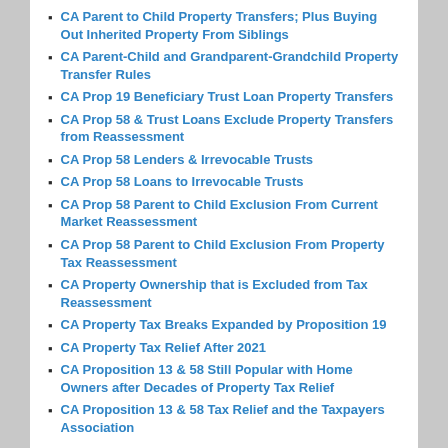CA Parent to Child Property Transfers; Plus Buying Out Inherited Property From Siblings
CA Parent-Child and Grandparent-Grandchild Property Transfer Rules
CA Prop 19 Beneficiary Trust Loan Property Transfers
CA Prop 58 & Trust Loans Exclude Property Transfers from Reassessment
CA Prop 58 Lenders & Irrevocable Trusts
CA Prop 58 Loans to Irrevocable Trusts
CA Prop 58 Parent to Child Exclusion From Current Market Reassessment
CA Prop 58 Parent to Child Exclusion From Property Tax Reassessment
CA Property Ownership that is Excluded from Tax Reassessment
CA Property Tax Breaks Expanded by Proposition 19
CA Property Tax Relief After 2021
CA Proposition 13 & 58 Still Popular with Home Owners after Decades of Property Tax Relief
CA Proposition 13 & 58 Tax Relief and the Taxpayers Association